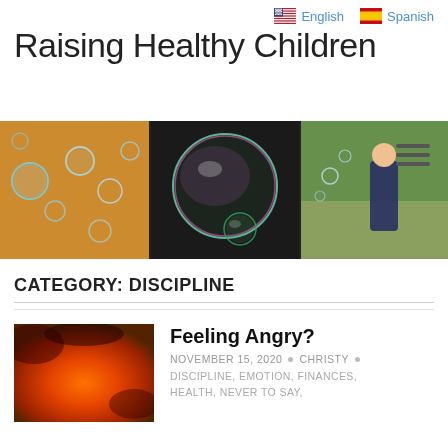English  Spanish
Raising Healthy Children
[Figure (photo): Three-panel hero banner: left panel shows colorful soap bubbles against autumn leaves, center panel shows a large reflective soap bubble on dark background, right panel shows a young child blowing bubbles in a park]
CATEGORY: DISCIPLINE
Feeling Angry?
NOVEMBER 15, 2020  •  CHRISTY  •
DISCIPLINE, EMOTION, FINANCES,
[Figure (photo): Thumbnail image showing a dramatic orange and red fiery sky or sunset]